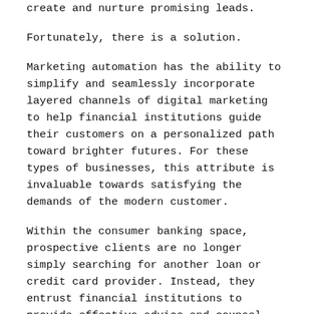create and nurture promising leads.
Fortunately, there is a solution.
Marketing automation has the ability to simplify and seamlessly incorporate layered channels of digital marketing to help financial institutions guide their customers on a personalized path toward brighter futures. For these types of businesses, this attribute is invaluable towards satisfying the demands of the modern customer.
Within the consumer banking space, prospective clients are no longer simply searching for another loan or credit card provider. Instead, they entrust financial institutions to provide effective advice and counsel tailored to their financial situation and help set them on the path to a bigger and better future. By offering this tailored capability for the benefit of the customer, marketing automation holds huge potential to positively change public perceptions of financial